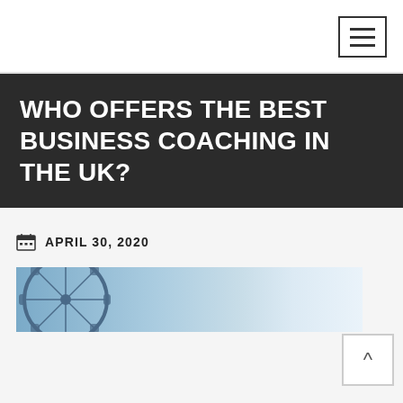WHO OFFERS THE BEST BUSINESS COACHING IN THE UK?
APRIL 30, 2020
[Figure (photo): Partial view of the London Eye Ferris wheel against a light blue sky with soft clouds, photo strip cropped at bottom of page.]